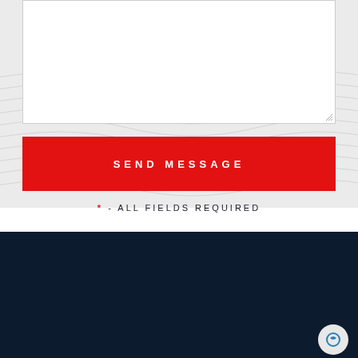[Figure (screenshot): Textarea input field with resize handle in bottom right corner]
SEND MESSAGE
* - ALL FIELDS REQUIRED
[Figure (logo): Hill Law Firm logo - blue square with H letter mark and white HILL LAW FIRM text]
445 RECOLETA RD.